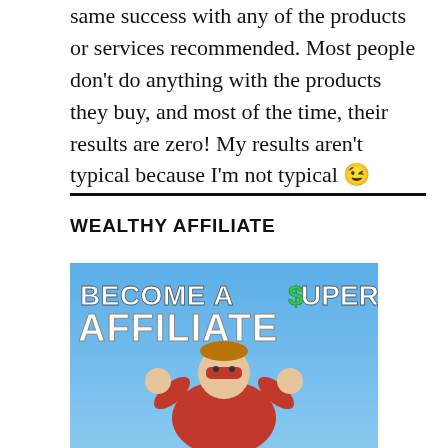same success with any of the products or services recommended. Most people don't do anything with the products they buy, and most of the time, their results are zero! My results aren't typical because I'm not typical 😉
WEALTHY AFFILIATE
[Figure (illustration): Promotional image showing a child dressed as a superhero in red costume and mask flexing muscles against a blue sky background, with bold white text reading 'BECOME A $UPER AFFILIATE' where the dollar sign S is green.]